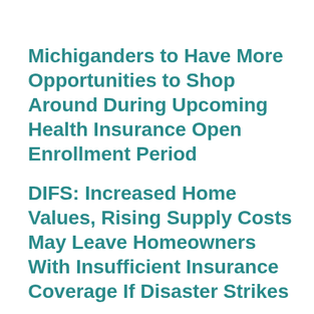Michiganders to Have More Opportunities to Shop Around During Upcoming Health Insurance Open Enrollment Period
DIFS: Increased Home Values, Rising Supply Costs May Leave Homeowners With Insufficient Insurance Coverage If Disaster Strikes